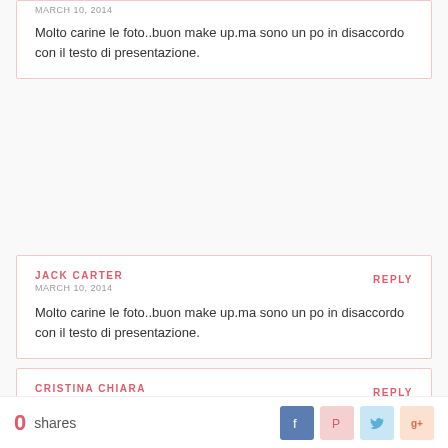MARCH 10, 2014
Molto carine le foto..buon make up.ma sono un po in disaccordo con il testo di presentazione.
JACK CARTER
MARCH 10, 2014
REPLY
Molto carine le foto..buon make up.ma sono un po in disaccordo con il testo di presentazione.
CRISTINA CHIARA
MARCH 10, 2014
REPLY
sei bellissima davvero..foto top..
0 shares